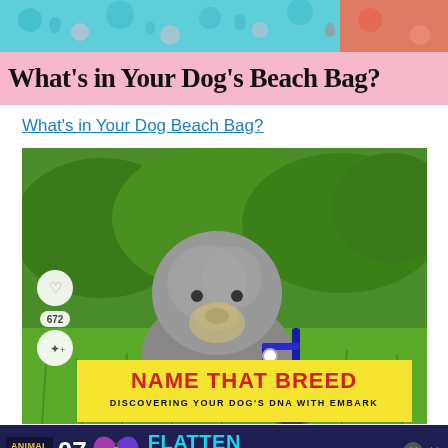[Figure (photo): Colorful patterned fabric banner with dog/floral print in teal, pink, and coral colors]
What's in Your Dog's Beach Bag?
What's in Your Dog Beach Bag?
[Figure (photo): Gray fluffy dog in a wheelchair/cart sitting on green grass with bushes in the background. Social icons visible: heart button and share button with count 672. Bottom overlay shows 'NAME THAT BREED - DISCOVERING YOUR DOG'S DNA WITH EMBARK' in yellow banner with red text.]
ANIMAL ADVICE 07 FLATTEN THE CURVE